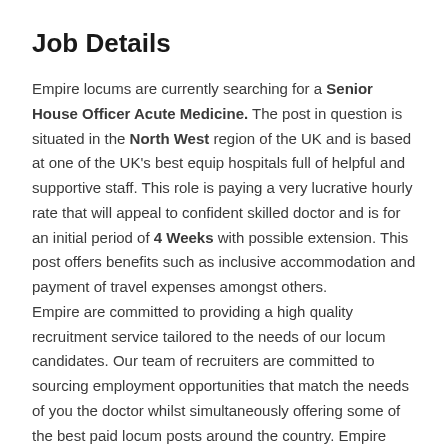Job Details
Empire locums are currently searching for a Senior House Officer Acute Medicine. The post in question is situated in the North West region of the UK and is based at one of the UK's best equip hospitals full of helpful and supportive staff. This role is paying a very lucrative hourly rate that will appeal to confident skilled doctor and is for an initial period of 4 Weeks with possible extension. This post offers benefits such as inclusive accommodation and payment of travel expenses amongst others. Empire are committed to providing a high quality recruitment service tailored to the needs of our locum candidates. Our team of recruiters are committed to sourcing employment opportunities that match the needs of you the doctor whilst simultaneously offering some of the best paid locum posts around the country. Empire